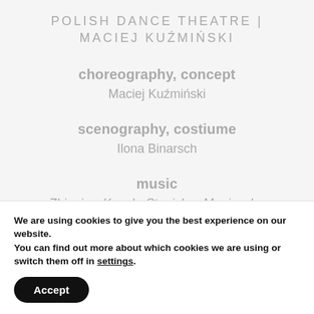POLISH DANCE THEATRE | MACIEJ KUŹMIŃSKI
choreography, concept
Maciej Kuźmiński
scenography, costiume
Ilona Binarsch
music
Zbigniew Kozub, Stanisław Moniuszko
We are using cookies to give you the best experience on our website.
You can find out more about which cookies we are using or switch them off in settings.
Accept